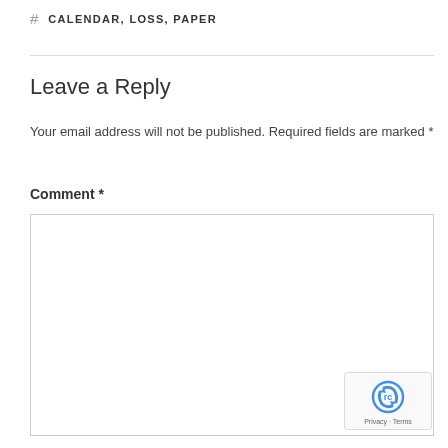# CALENDAR, LOSS, PAPER
Leave a Reply
Your email address will not be published. Required fields are marked *
Comment *
[Figure (other): reCAPTCHA badge with Privacy and Terms links]